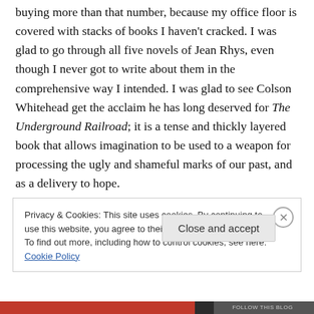buying more than that number, because my office floor is covered with stacks of books I haven't cracked. I was glad to go through all five novels of Jean Rhys, even though I never got to write about them in the comprehensive way I intended. I was glad to see Colson Whitehead get the acclaim he has long deserved for The Underground Railroad; it is a tense and thickly layered book that allows imagination to be used to a weapon for processing the ugly and shameful marks of our past, and as a delivery to hope.
Privacy & Cookies: This site uses cookies. By continuing to use this website, you agree to their use.
To find out more, including how to control cookies, see here: Cookie Policy
Close and accept